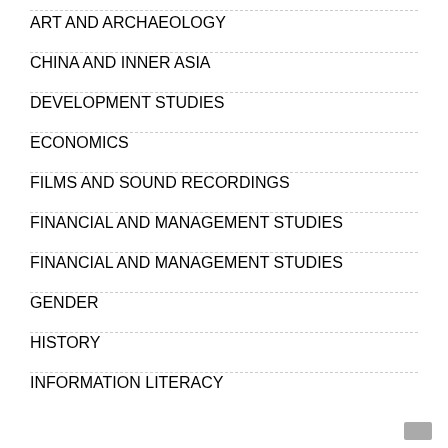ART AND ARCHAEOLOGY
CHINA AND INNER ASIA
DEVELOPMENT STUDIES
ECONOMICS
FILMS AND SOUND RECORDINGS
FINANCIAL AND MANAGEMENT STUDIES
FINANCIAL AND MANAGEMENT STUDIES
GENDER
HISTORY
INFORMATION LITERACY